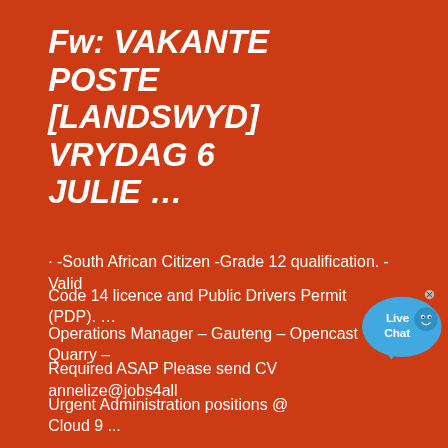Fw: VAKANTE POSTE [LANDSWYD] VRYDAG 6 JULIE …
· -South African Citizen -Grade 12 qualification. -Valid Code 14 licence and Public Drivers Permit (PDP). …
Operations Manager – Gauteng – Opencast Quarry –
Required ASAP Please send CV annelize@jobs4all
Urgent Administration positions @ Cloud 9 ...
[Figure (illustration): Live Chat button/bubble widget in blue]
Qualifications Required For Quarry Foreman In South …
Section Manager Mining 2.6.1 Opencast Mine, Northern